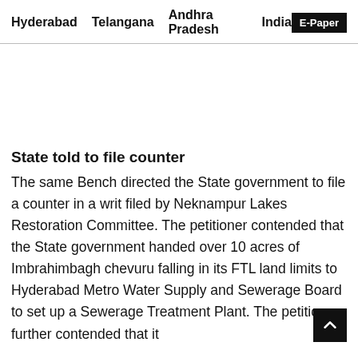Hyderabad   Telangana   Andhra Pradesh   India   E-Paper
State told to file counter
The same Bench directed the State government to file a counter in a writ filed by Neknampur Lakes Restoration Committee. The petitioner contended that the State government handed over 10 acres of Imbrahimbagh chevuru falling in its FTL land limits to Hyderabad Metro Water Supply and Sewerage Board to set up a Sewerage Treatment Plant. The petitioner further contended that it